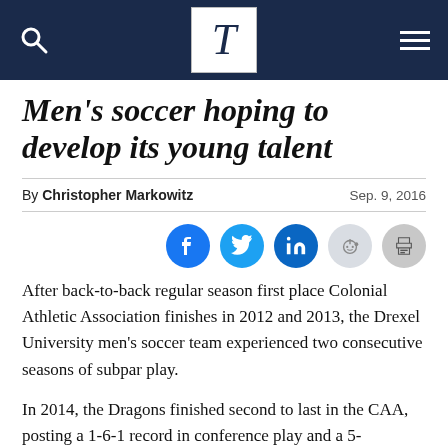T (The Triangle newspaper logo)
Men's soccer hoping to develop its young talent
By Christopher Markowitz    Sep. 9, 2016
[Figure (other): Social sharing icons: Facebook, Twitter, LinkedIn, Reddit, Print]
After back-to-back regular season first place Colonial Athletic Association finishes in 2012 and 2013, the Drexel University men's soccer team experienced two consecutive seasons of subpar play.
In 2014, the Dragons finished second to last in the CAA, posting a 1-6-1 record in conference play and a 5-